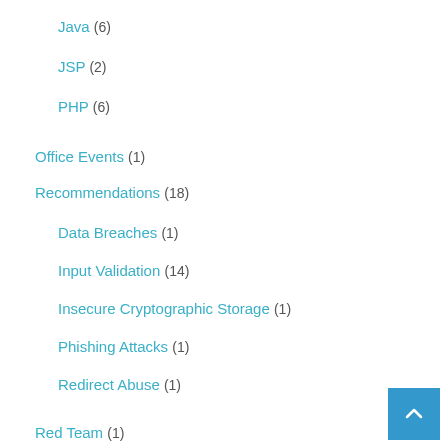Java (6)
JSP (2)
PHP (6)
Office Events (1)
Recommendations (18)
Data Breaches (1)
Input Validation (14)
Insecure Cryptographic Storage (1)
Phishing Attacks (1)
Redirect Abuse (1)
Red Team (1)
Security Attacks (16)